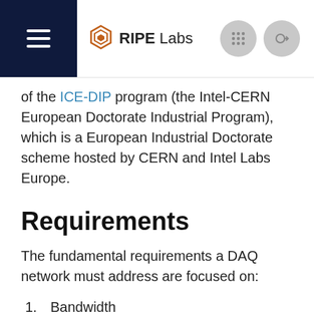RIPE Labs
of the ICE-DIP program (the Intel-CERN European Doctorate Industrial Program), which is a European Industrial Doctorate scheme hosted by CERN and Intel Labs Europe.
Requirements
The fundamental requirements a DAQ network must address are focused on:
1. Bandwidth
2. Latency
3. Reliability
4. Congestion notification